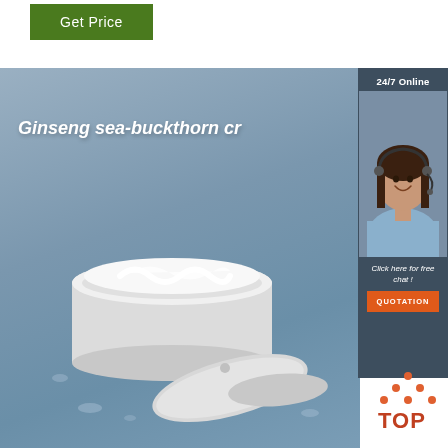[Figure (other): Green 'Get Price' button]
[Figure (photo): Product photo of an open white cream jar (Ginseng sea-buckthorn cream) on a blue-grey background with water droplets. White text overlay reads 'Ginseng sea-buckthorn cr...' A customer service sidebar on the right shows '24/7 Online', a female agent with headset, 'Click here for free chat!', and an orange QUOTATION button. A TOP logo appears at the bottom right.]